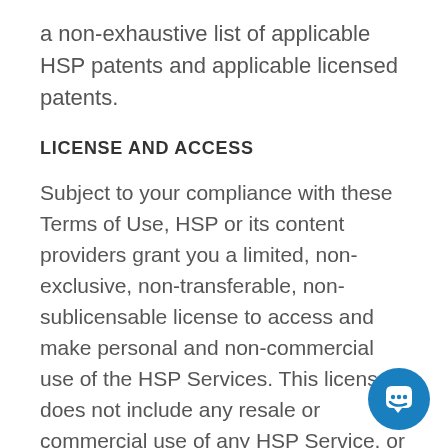a non-exhaustive list of applicable HSP patents and applicable licensed patents.
LICENSE AND ACCESS
Subject to your compliance with these Terms of Use, HSP or its content providers grant you a limited, non-exclusive, non-transferable, non-sublicensable license to access and make personal and non-commercial use of the HSP Services. This license does not include any resale or commercial use of any HSP Service, or its contents; any